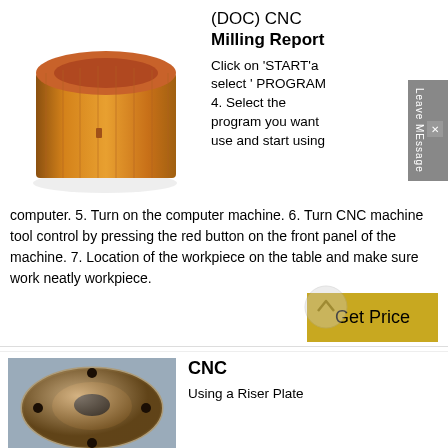[Figure (photo): A copper/bronze cylindrical bushing or sleeve, open at top, with vertical striations, viewed from above at slight angle, warm orange-gold color]
(DOC) CNC Milling Report
Click on 'START'a select ' PROGRAM 4. Select the program you want use and start using computer. 5. Turn on the computer machine. 6. Turn CNC machine tool control by pressing the red button on the front panel of the machine. 7. Location of the workpiece on the table and make sure work neatly workpiece.
[Figure (photo): A bronze/brass flanged bushing or collar fitting, circular with center hole, viewed from above on a gray surface]
CNC
Using a Riser Plate